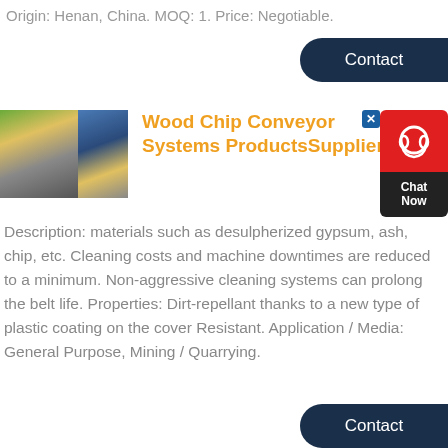Origin: Henan, China. MOQ: 1. Price: Negotiable.
[Figure (screenshot): Contact button (dark navy, pill shape) at top right]
[Figure (photo): Two product images side by side: excavator/construction scene and rock/mining aggregate]
Wood Chip Conveyor Systems ProductsSupplier
[Figure (infographic): Chat Now widget: red top with headset icon, dark bottom with Chat Now text and close X button]
Description: materials such as desulpherized gypsum, ash, chip, etc. Cleaning costs and machine downtimes are reduced to a minimum. Non-aggressive cleaning systems can prolong the belt life. Properties: Dirt-repellant thanks to a new type of plastic coating on the cover Resistant. Application / Media: General Purpose, Mining / Quarrying.
[Figure (screenshot): Contact button (dark navy, pill shape) at bottom right]